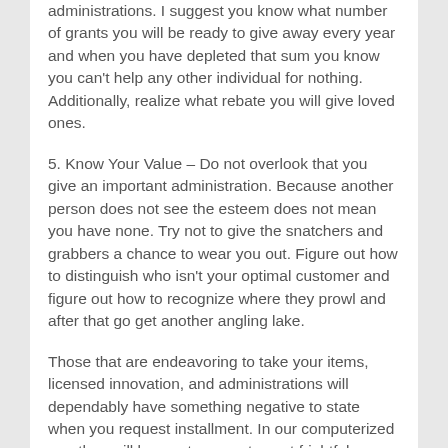administrations. I suggest you know what number of grants you will be ready to give away every year and when you have depleted that sum you know you can't help any other individual for nothing. Additionally, realize what rebate you will give loved ones.
5. Know Your Value – Do not overlook that you give an important administration. Because another person does not see the esteem does not mean you have none. Try not to give the snatchers and grabbers a chance to wear you out. Figure out how to distinguish who isn't your optimal customer and figure out how to recognize where they prowl and after that go get another angling lake.
Those that are endeavoring to take your items, licensed innovation, and administrations will dependably have something negative to state when you request installment. In our computerized age they will be as strong as to post frightful remarks via web-based networking media stages impacting you and your Christian esteems. They will presumably “unfriend” you as well. Keep in mind, don’t open an entryway that God